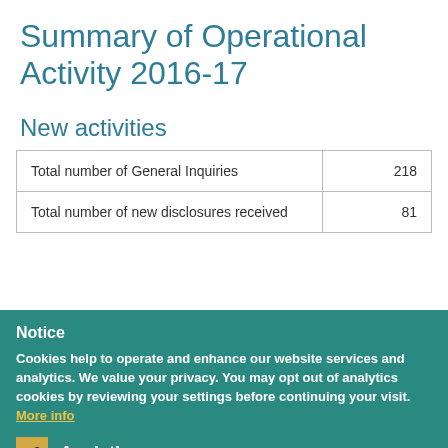Summary of Operational Activity 2016-17
New activities
|  |  |
| --- | --- |
| Total number of General Inquiries | 218 |
| Total number of new disclosures received | 81 |
Notice
Cookies help to operate and enhance our website services and analytics. We value your privacy. You may opt out of analytics cookies by reviewing your settings before continuing your visit. More info
Analytics
These cookies submit anonymous activity data to analytics software. This data helps u... website.
Okay, I agree